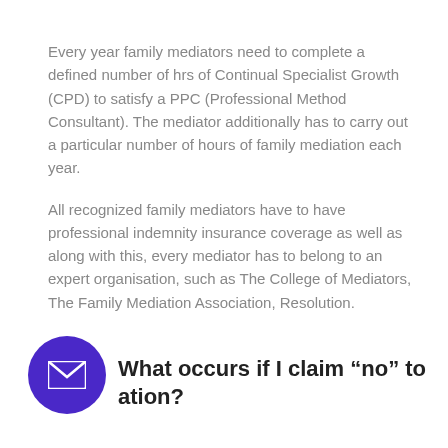Every year family mediators need to complete a defined number of hrs of Continual Specialist Growth (CPD) to satisfy a PPC (Professional Method Consultant). The mediator additionally has to carry out a particular number of hours of family mediation each year.
All recognized family mediators have to have professional indemnity insurance coverage as well as along with this, every mediator has to belong to an expert organisation, such as The College of Mediators, The Family Mediation Association, Resolution.
What occurs if I claim “no” to ation?